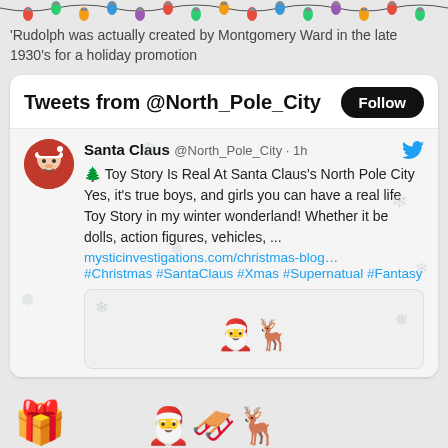[Figure (illustration): Colorful Christmas lights string decoration across the top of the page]
'Rudolph was actually created by Montgomery Ward in the late 1930's for a holiday promotion
[Figure (screenshot): Twitter/X widget showing Tweets from @North_Pole_City with a Follow button]
Santa Claus @North_Pole_City · 1h
🌲 Toy Story Is Real At Santa Claus's North Pole City
Yes, it's true boys, and girls you can have a real life Toy Story in my winter wonderland!  Whether it be dolls, action figures, vehicles,  ...
mysticinvestigations.com/christmas-blog…
#Christmas #SantaClaus #Xmas #Supernatual #Fantasy
[Figure (illustration): Christmas gift box emoji (red with gold ribbon) at bottom left and Santa on sleigh with reindeer emoji at bottom center]